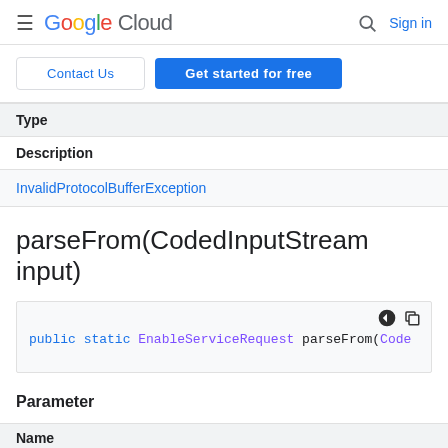Google Cloud  Sign in
Contact Us  Get started for free
| Type |
| --- |
| Description |
| --- |
| InvalidProtocolBufferException |
parseFrom(CodedInputStream input)
public static EnableServiceRequest parseFrom(Code
Parameter